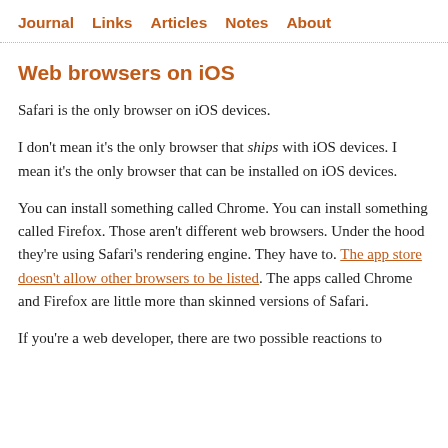Journal   Links   Articles   Notes   About
Web browsers on iOS
Safari is the only browser on iOS devices.
I don't mean it's the only browser that ships with iOS devices. I mean it's the only browser that can be installed on iOS devices.
You can install something called Chrome. You can install something called Firefox. Those aren't different web browsers. Under the hood they're using Safari's rendering engine. They have to. The app store doesn't allow other browsers to be listed. The apps called Chrome and Firefox are little more than skinned versions of Safari.
If you're a web developer, there are two possible reactions to